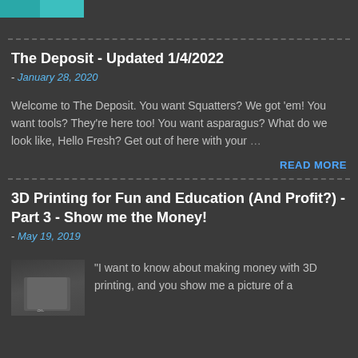[Figure (other): Teal/cyan colored header image strip at top left]
The Deposit - Updated 1/4/2022
- January 28, 2020
Welcome to The Deposit. You want Squatters? We got 'em! You want tools? They're here too! You want asparagus? What do we look like, Hello Fresh? Get out of here with your ...
READ MORE
3D Printing for Fun and Education (And Profit?) - Part 3 - Show me the Money!
- May 19, 2019
[Figure (photo): Small thumbnail photo of a 3D printed object on a table]
"I want to know about making money with 3D printing, and you show me a picture of a